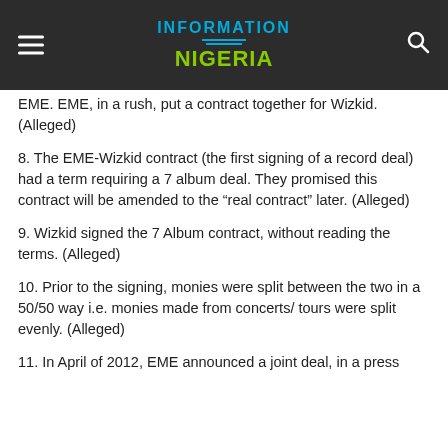Information Nigeria
EME. EME, in a rush, put a contract together for Wizkid. (Alleged)
8. The EME-Wizkid contract (the first signing of a record deal) had a term requiring a 7 album deal. They promised this contract will be amended to the “real contract” later. (Alleged)
9. Wizkid signed the 7 Album contract, without reading the terms. (Alleged)
10. Prior to the signing, monies were split between the two in a 50/50 way i.e. monies made from concerts/ tours were split evenly. (Alleged)
11. In April of 2012, EME announced a joint deal, in a press